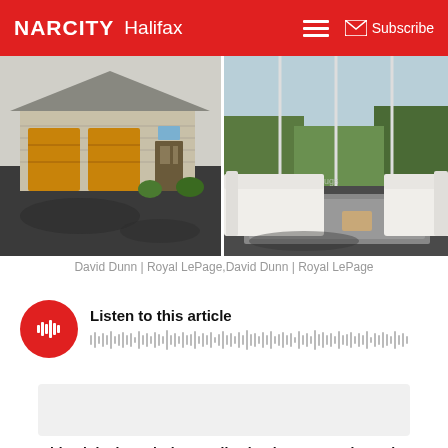NARCITY Halifax
[Figure (photo): Two side-by-side real estate photos: left shows a house exterior with yellow garage doors and stone facade with a dark driveway; right shows a bright living room interior with white sofas and large floor-to-ceiling windows with trees visible outside.]
David Dunn | Royal LePage,David Dunn | Royal LePage
[Figure (other): Audio player widget with red circular play button and waveform visualization. Title: Listen to this article]
Wouldn't it be just glorious to live by the water? That's the